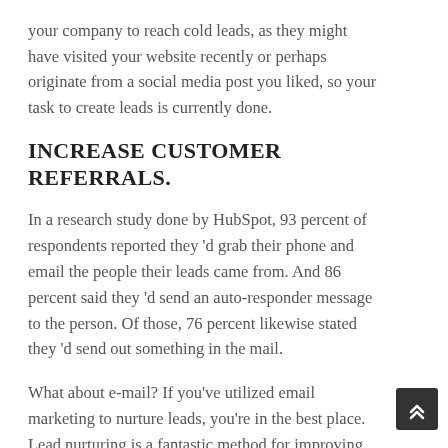your company to reach cold leads, as they might have visited your website recently or perhaps originate from a social media post you liked, so your task to create leads is currently done.
INCREASE CUSTOMER REFERRALS.
In a research study done by HubSpot, 93 percent of respondents reported they 'd grab their phone and email the people their leads came from. And 86 percent said they 'd send an auto-responder message to the person. Of those, 76 percent likewise stated they 'd send out something in the mail.
What about e-mail? If you've utilized email marketing to nurture leads, you're in the best place. Lead nurturing is a fantastic method for improving customer trust and increasing conversions.